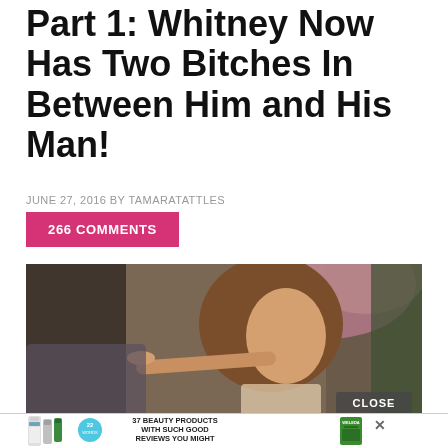Part 1: Whitney Now Has Two Bitches In Between Him and His Man!
JUNE 27, 2016 BY TAMARATATTLES
266 COMMENTS
[Figure (photo): Woman with long brown hair pointing her finger at someone off-camera, seated on a couch in what appears to be a TV studio set. A 'CLOSE' button overlay appears in the bottom right corner.]
[Figure (infographic): Advertisement banner showing Cetaphil and other beauty products with text '37 BEAUTY PRODUCTS WITH SUCH GOOD REVIEWS YOU MIGHT WANT TO TRY THEM YOURSELF' and a '22' badge, with Weleda product on the right and an X close button.]